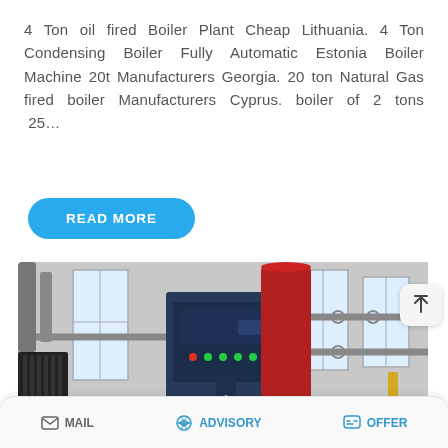4 Ton oil fired Boiler Plant Cheap Lithuania. 4 Ton Condensing Boiler Fully Automatic Estonia Boiler Machine 20t Manufacturers Georgia. 20 ton Natural Gas fired boiler Manufacturers Cyprus. boiler of 2 tons 25…
READ MORE
[Figure (photo): Industrial boiler plant interior showing a blue control panel, red cylindrical vessel, pipes and equipment in a factory/plant room setting. Overlaid with a WhatsApp sticker-saving notification with phone and emoji icons.]
MAIL   ADVISORY   OFFER